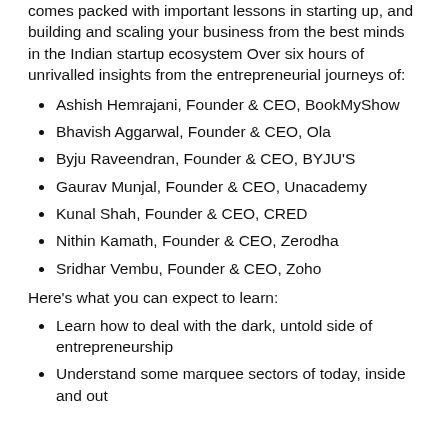comes packed with important lessons in starting up, and building and scaling your business from the best minds in the Indian startup ecosystem Over six hours of unrivalled insights from the entrepreneurial journeys of:
Ashish Hemrajani, Founder & CEO, BookMyShow
Bhavish Aggarwal, Founder & CEO, Ola
Byju Raveendran, Founder & CEO, BYJU'S
Gaurav Munjal, Founder & CEO, Unacademy
Kunal Shah, Founder & CEO, CRED
Nithin Kamath, Founder & CEO, Zerodha
Sridhar Vembu, Founder & CEO, Zoho
Here's what you can expect to learn:
Learn how to deal with the dark, untold side of entrepreneurship
Understand some marquee sectors of today, inside and out